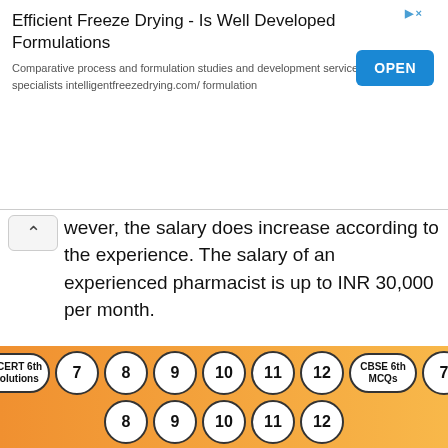[Figure (other): Advertisement banner for Efficient Freeze Drying with OPEN button]
however, the salary does increase according to the experience. The salary of an experienced pharmacist is up to INR 30,000 per month.
FAQS on How to become a registered pharmacist in India
1. How can I become a pharmacist after 12th in India?
[Figure (other): Bottom navigation bar with oval buttons: NCERT 6th Solutions, 7, 8, 9, 10, 11, 12, CBSE 6th MCQs, 7, 8, 9, 10, 11, 12]